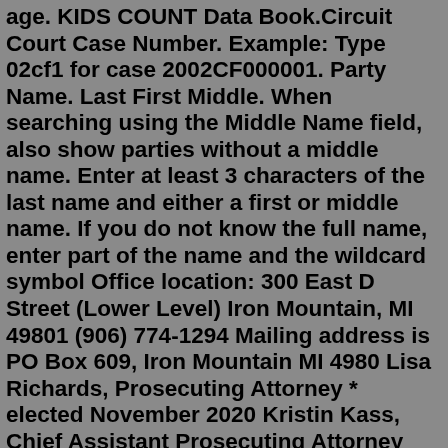age. KIDS COUNT Data Book.Circuit Court Case Number. Example: Type 02cf1 for case 2002CF000001. Party Name. Last First Middle. When searching using the Middle Name field, also show parties without a middle name. Enter at least 3 characters of the last name and either a first or middle name. If you do not know the full name, enter part of the name and the wildcard symbol Office location: 300 East D Street (Lower Level) Iron Mountain, MI 49801 (906) 774-1294 Mailing address is PO Box 609, Iron Mountain MI 4980 Lisa Richards, Prosecuting Attorney * elected November 2020 Kristin Kass, Chief Assistant Prosecuting Attorney Alex Sieminski, Assistant Prosecuting Attorney Connie Larson, Victims' Rights AdvocateAbout Us. PA County Platform; 2019 Annual Report; Calendar of Events; Boards and Committees; Past Presidents; Directions; Contact Us; PA Counties. County Websites Call the Milwaukee County Jail at (414) 226-7070 for information about recent arrests. Contact the Records Division at (414)